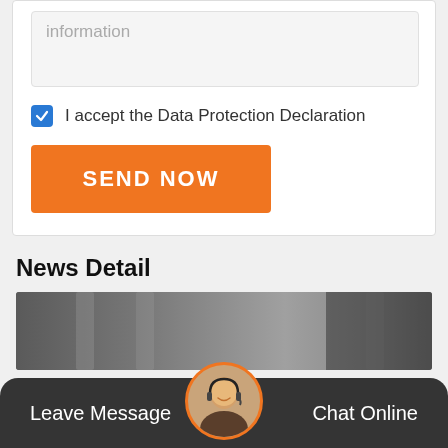information
I accept the Data Protection Declaration
SEND NOW
News Detail
[Figure (photo): Background photo showing a formal/professional setting with columns or pillars]
Leave Message
Chat Online